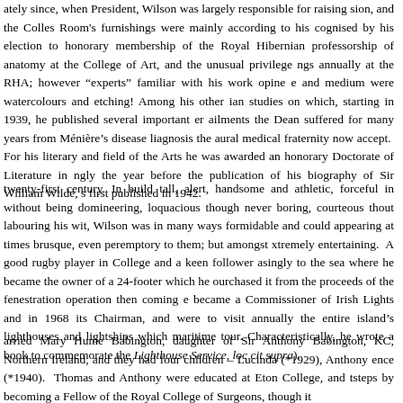ately since, when President, Wilson was largely responsible for raising sion, and the Colles Room's furnishings were mainly according to his cognised by his election to honorary membership of the Royal Hibernian professorship of anatomy at the College of Art, and the unusual privilege ngs annually at the RHA; however "experts" familiar with his work opine e and medium were watercolours and etching! Among his other ian studies on which, starting in 1939, he published several important er ailments the Dean suffered for many years from Ménière's disease liagnosis the aural medical fraternity now accept. For his literary and field of the Arts he was awarded an honorary Doctorate of Literature in ngly the year before the publication of his biography of Sir William Wilde, s first published in 1942.
twenty-first century. In build tall, alert, handsome and athletic, forceful in without being domineering, loquacious though never boring, courteous thout labouring his wit, Wilson was in many ways formidable and could appearing at times brusque, even peremptory to them; but amongst xtremely entertaining. A good rugby player in College and a keen follower asingly to the sea where he became the owner of a 24-footer which he ourchased it from the proceeds of the fenestration operation then coming e became a Commissioner of Irish Lights and in 1968 its Chairman, and were to visit annually the entire island's lighthouses and lightships which maritime tour. Characteristically, he wrote a book to commemorate the Lighthouse Service, loc cit supra).
arried Mary Hume Babington, daughter of Sir Anthony Babington, KC, Northern Ireland, and they had four children – Lucinda (*1929), Anthony ence (*1940). Thomas and Anthony were educated at Eton College, and tsteps by becoming a Fellow of the Royal College of Surgeons, though it